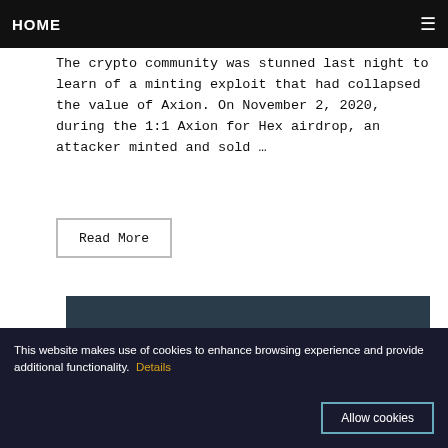HOME
The crypto community was stunned last night to learn of a minting exploit that had collapsed the value of Axion. On November 2, 2020, during the 1:1 Axion for Hex airdrop, an attacker minted and sold …
Read More
[Figure (screenshot): Dark teal/navy background with partially visible large text 'HC' watermark in muted color]
This website makes use of cookies to enhance browsing experience and provide additional functionality. Details
Allow cookies